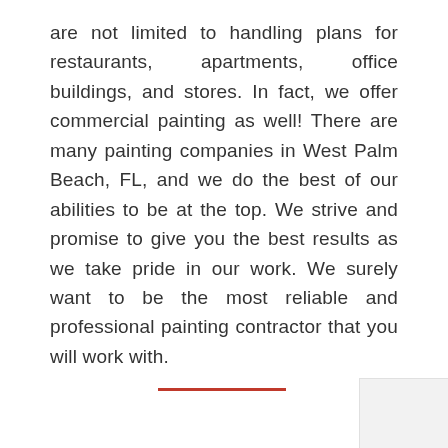are not limited to handling plans for restaurants, apartments, office buildings, and stores. In fact, we offer commercial painting as well! There are many painting companies in West Palm Beach, FL, and we do the best of our abilities to be at the top. We strive and promise to give you the best results as we take pride in our work. We surely want to be the most reliable and professional painting contractor that you will work with.
[Figure (other): Red 'LEARN MORE' button centered on the page, with a grey scroll-to-top arrow button at the right edge]